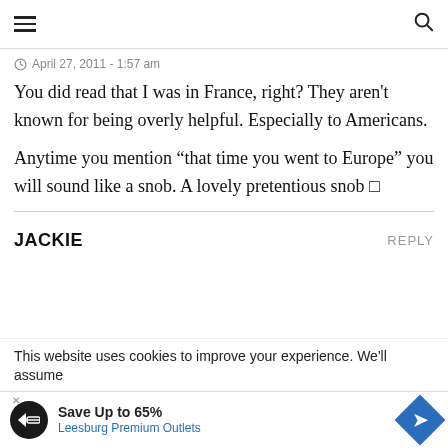Navigation menu and search icon
April 27, 2011 - 1:57 am
You did read that I was in France, right? They aren't known for being overly helpful. Especially to Americans.
Anytime you mention “that time you went to Europe” you will sound like a snob. A lovely pretentious snob �
JACKIE
REPLY
This website uses cookies to improve your experience. We'll assume
[Figure (infographic): Advertisement banner: Save Up to 65% Leesburg Premium Outlets with logo and directional sign icon]